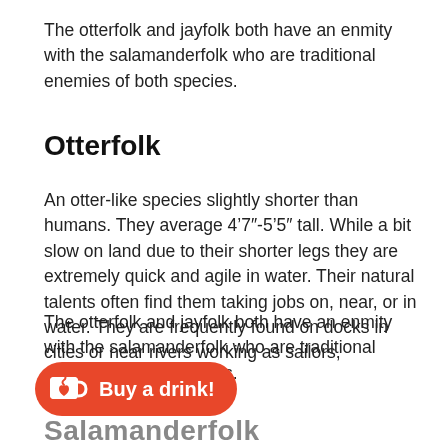The otterfolk and jayfolk both have an enmity with the salamanderfolk who are traditional enemies of both species.
Otterfolk
An otter-like species slightly shorter than humans. They average 4’7″-5’5″ tall. While a bit slow on land due to their shorter legs they are extremely quick and agile in water. Their natural talents often find them taking jobs on, near, or in water. They are frequently found on docks in cities or near rivers working as sailors, fishermen, or ferrymen.
The otterfolk and jayfolk both have an enmity with the salamanderfolk who are traditional enemies of both species.
[Figure (other): Buy a drink button - red/coral rounded pill button with a coffee cup icon containing a heart, and bold white text 'Buy a drink!']
Salamanderfolk